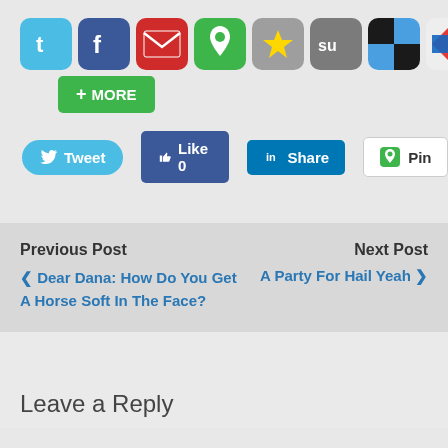[Figure (screenshot): Row of social sharing icon buttons: Twitter (blue t), Facebook (blue f), Gmail (red envelope), Pinboard (green pin), Favorites (grey star), StumbleUpon (grey su), ShareThis (black/white squares), Kwout (red/blue arrow), LinkedIn (blue in)]
[Figure (screenshot): Green button with plus sign and MORE text]
[Figure (screenshot): Row of social sharing buttons: Tweet (blue rounded), Like 0 (Facebook blue), Share (LinkedIn blue), Pin (white with green pin icon)]
Previous Post
Next Post
◀ Dear Dana: How Do You Get A Horse Soft In The Face?
A Party For Hail Yeah ▶
Leave a Reply